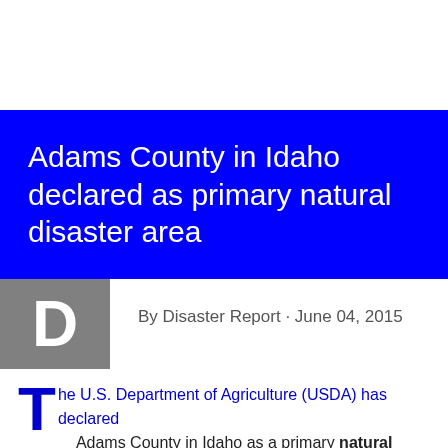Adams County in Idaho declared as primary natural disaster area
By Disaster Report · June 04, 2015
The U.S. Department of Agriculture (USDA) has declared Adams County in Idaho as a primary natural disaster area due to damages and losses caused by a recent drought.